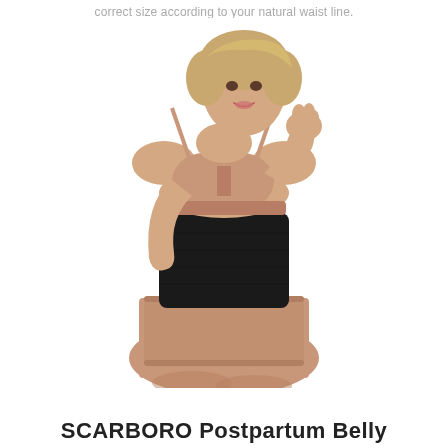correct size according to your natural waist line.
[Figure (photo): Woman wearing a black waist trainer/belly wrap over a nude bra and nude boy shorts. The black compression band covers her midsection from below the bust to the hips.]
SCARBORO Postpartum Belly